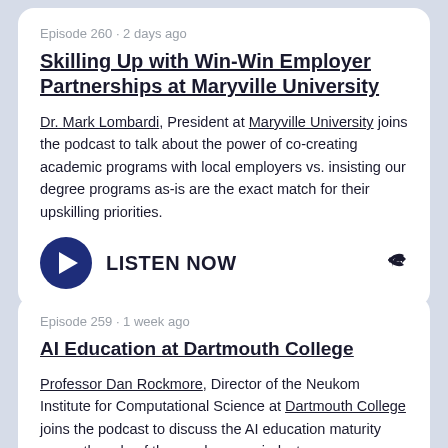Episode 260 · 2 days ago
Skilling Up with Win-Win Employer Partnerships at Maryville University
Dr. Mark Lombardi, President at Maryville University joins the podcast to talk about the power of co-creating academic programs with local employers vs. insisting our degree programs as-is are the exact match for their upskilling priorities.
LISTEN NOW
Episode 259 · 1 week ago
AI Education at Dartmouth College
Professor Dan Rockmore, Director of the Neukom Institute for Computational Science at Dartmouth College joins the podcast to discuss the AI education maturity curve, the role of the academy vs. industry